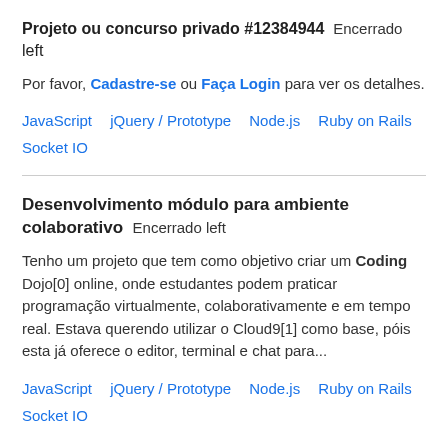Projeto ou concurso privado #12384944   Encerrado left
Por favor, Cadastre-se ou Faça Login para ver os detalhes.
JavaScript   jQuery / Prototype   Node.js   Ruby on Rails   Socket IO
Desenvolvimento módulo para ambiente colaborativo   Encerrado left
Tenho um projeto que tem como objetivo criar um Coding Dojo[0] online, onde estudantes podem praticar programação virtualmente, colaborativamente e em tempo real. Estava querendo utilizar o Cloud9[1] como base, póis esta já oferece o editor, terminal e chat para...
JavaScript   jQuery / Prototype   Node.js   Ruby on Rails   Socket IO